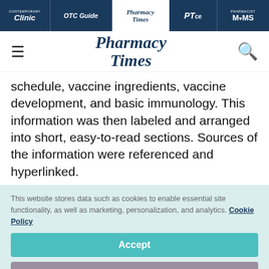Clinic | OTC Guide | Pharmacy Times | PTce | Pharmacist Moms
[Figure (logo): Pharmacy Times website header with hamburger menu, Pharmacy Times logo in dark blue italic serif font, and search icon]
schedule, vaccine ingredients, vaccine development, and basic immunology. This information was then labeled and arranged into short, easy-to-read sections. Sources of the information were referenced and hyperlinked.
This website stores data such as cookies to enable essential site functionality, as well as marketing, personalization, and analytics. Cookie Policy
Accept
Deny